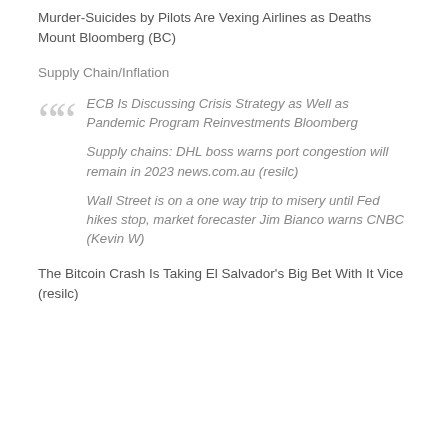Murder-Suicides by Pilots Are Vexing Airlines as Deaths Mount Bloomberg (BC)
Supply Chain/Inflation
ECB Is Discussing Crisis Strategy as Well as Pandemic Program Reinvestments Bloomberg
Supply chains: DHL boss warns port congestion will remain in 2023 news.com.au (resilc)
Wall Street is on a one way trip to misery until Fed hikes stop, market forecaster Jim Bianco warns CNBC (Kevin W)
The Bitcoin Crash Is Taking El Salvador's Big Bet With It Vice (resilc)